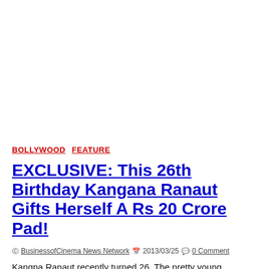BOLLYWOOD  FEATURE
EXCLUSIVE: This 26th Birthday Kangana Ranaut Gifts Herself A Rs 20 Crore Pad!
BusinessofCinema News Network  2013/03/25  0 Comment
Kangna Ranaut recently turned 26. The pretty young Bollywood lass, aside